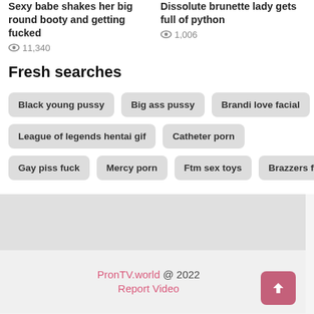Sexy babe shakes her big round booty and getting fucked
👁 11,340
Dissolute brunette lady gets full of python
👁 1,006
Fresh searches
Black young pussy
Big ass pussy
Brandi love facial
League of legends hentai gif
Catheter porn
Gay piss fuck
Mercy porn
Ftm sex toys
Brazzers full
PronTV.world @ 2022
Report Video